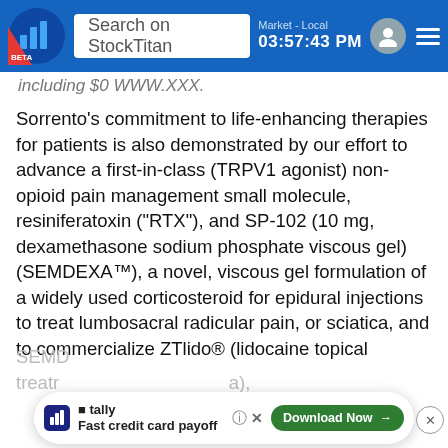Search on StockTitan | Market - Local 03:57:43 PM
including $0 WWW.XXX.
Sorrento's commitment to life-enhancing therapies for patients is also demonstrated by our effort to advance a first-in-class (TRPV1 agonist) non-opioid pain management small molecule, resiniferatoxin ("RTX"), and SP-102 (10 mg, dexamethasone sodium phosphate viscous gel) (SEMDEXA™), a novel, viscous gel formulation of a widely used corticosteroid for epidural injections to treat lumbosacral radicular pain, or sciatica, and to commercialize ZTlido® (lidocaine topical system) 1.8% for the treatment of postherpetic neuralgia (PHN). RTX has been cleared for a Phase II trial for intractable pain associated with cancer and a Phase II trial in osteoarthritis patients. Positive final results from the Phase III Pivotal Trial C.L.E.A.R. Program for
SEMD ... treatr ... (a), were
[Figure (screenshot): Tally ad banner: Fast credit card payoff with Download Now button]